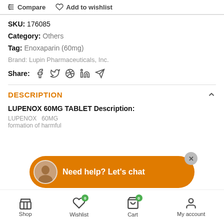Compare   Add to wishlist
SKU: 176085
Category: Others
Tag: Enoxaparin (60mg)
Brand: Lupin Pharmaceuticals, Inc.
Share:
DESCRIPTION
LUPENOX 60MG TABLET Description:
LUPENOX 60MG ... formation of harmful ...
[Figure (screenshot): Chat support bubble with avatar and 'Need help? Let's chat' message]
Shop   Wishlist 0   Cart 0   My account